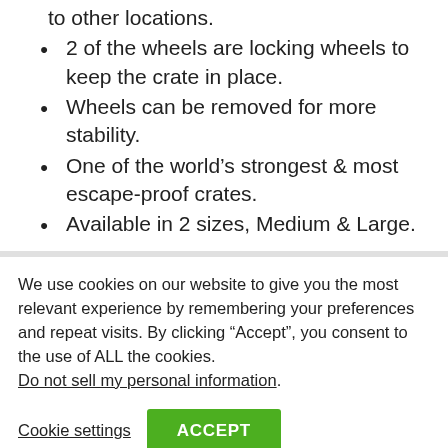to other locations.
2 of the wheels are locking wheels to keep the crate in place.
Wheels can be removed for more stability.
One of the world's strongest & most escape-proof crates.
Available in 2 sizes, Medium & Large.
We use cookies on our website to give you the most relevant experience by remembering your preferences and repeat visits. By clicking “Accept”, you consent to the use of ALL the cookies.
Do not sell my personal information.
Cookie settings
ACCEPT